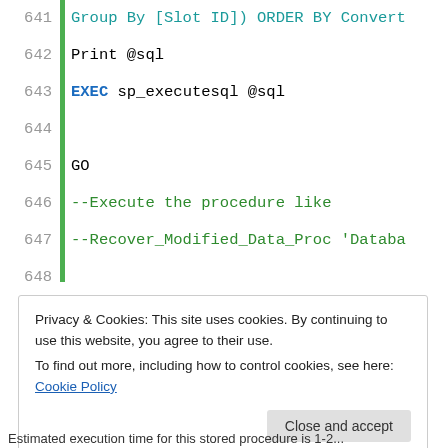Code block lines 641-654 showing SQL stored procedure code
Privacy & Cookies: This site uses cookies. By continuing to use this website, you agree to their use. To find out more, including how to control cookies, see here: Cookie Policy
Estimated execution time for this stored procedure is 1-2...